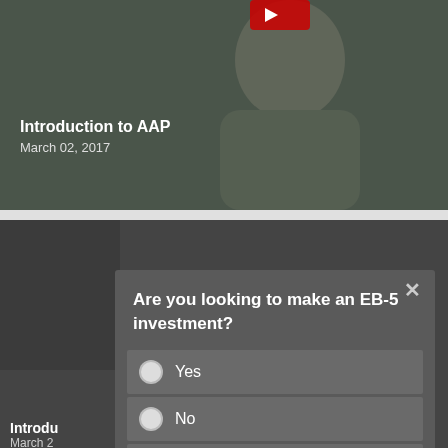[Figure (screenshot): Video thumbnail showing a man in a room, with overlay text 'Introduction to AAP' and date 'March 02, 2017']
Introduction to AAP
March 02, 2017
[Figure (screenshot): Modal dialog overlay on dark video background asking 'Are you looking to make an EB-5 investment?' with radio options Yes, No, Other and a Send button]
Are you looking to make an EB-5 investment?
Yes
No
Other
Send
Introdu
March 2